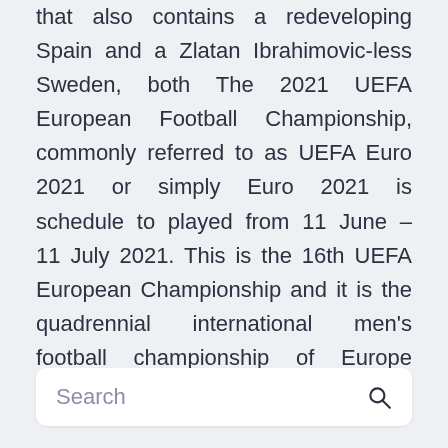that also contains a redeveloping Spain and a Zlatan Ibrahimovic-less Sweden, both The 2021 UEFA European Football Championship, commonly referred to as UEFA Euro 2021 or simply Euro 2021 is schedule to played from 11 June – 11 July 2021. This is the 16th UEFA European Championship and it is the quadrennial international men's football championship of Europe organized by UEFA.
Search